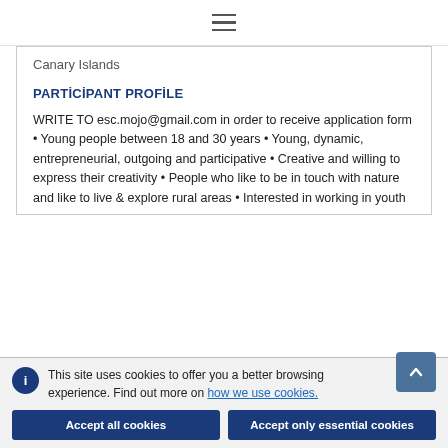≡
Canary Islands
PARTİCİPANT PROFİLE
WRITE TO esc.mojo@gmail.com in order to receive application form • Young people between 18 and 30 years • Young, dynamic, entrepreneurial, outgoing and participative • Creative and willing to express their creativity • People who like to be in touch with nature and like to live & explore rural areas • Interested in working in youth
This site uses cookies to offer you a better browsing experience. Find out more on how we use cookies.
Accept all cookies
Accept only essential cookies